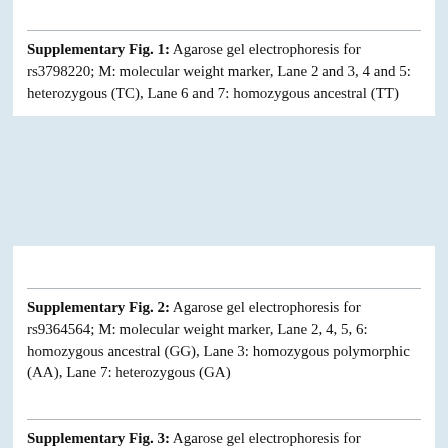Supplementary Fig. 1: Agarose gel electrophoresis for rs3798220; M: molecular weight marker, Lane 2 and 3, 4 and 5: heterozygous (TC), Lane 6 and 7: homozygous ancestral (TT)
Supplementary Fig. 2: Agarose gel electrophoresis for rs9364564; M: molecular weight marker, Lane 2, 4, 5, 6: homozygous ancestral (GG), Lane 3: homozygous polymorphic (AA), Lane 7: heterozygous (GA)
Supplementary Fig. 3: Agarose gel electrophoresis for rs1321196; M: molecular weight marker, Lane 2: homozygous ancestral (GG), Lanes 3, 5, 6, 7: heterozygous (GA), Lane 4: homozygous polymorphic